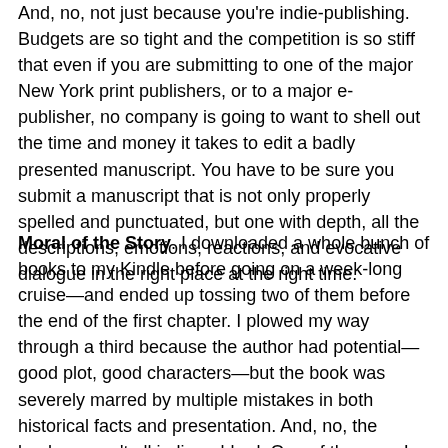And, no, not just because you're indie-publishing. Budgets are so tight and the competition is so stiff that even if you are submitting to one of the major New York print publishers, or to a major e-publisher, no company is going to want to shell out the time and money it takes to edit a badly presented manuscript. You have to be sure you submit a manuscript that is not only properly spelled and punctuated, but one with depth, all the descriptions, emotions, reactions, and evocative dialogue in the right place at the right time.
Moral of the Story. I downloaded a whole bunch of books to my Kindle before going on a week-long cruise—and ended up tossing two of them before the end of the first chapter. I plowed my way through a third because the author had potential—good plot, good characters—but the book was severely marred by multiple mistakes in both historical facts and presentation. And, no, the books weren't all indie-pubbed. One of the ones I chucked to Archives was from a major NY publisher—all "tell" and dull as dishwater. I couldn't believe anyone was still publishing work that reads like a fourth-grade language arts text. Ah well, I can't do much about that, I guess, except refuse to buy any more from that author. But for indie authors and those striving to break into